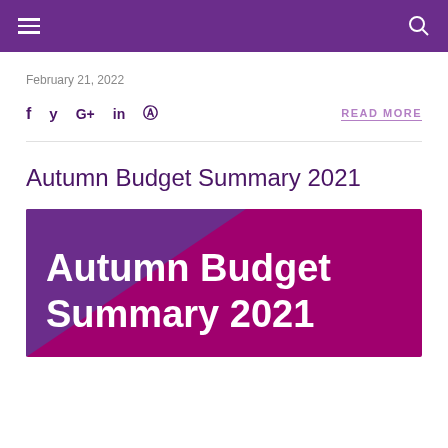Navigation header bar with hamburger menu and search icon
February 21, 2022
f  y  G+  in  ®  READ MORE
Autumn Budget Summary 2021
[Figure (illustration): Autumn Budget Summary 2021 branded image with purple and magenta background and bold white text reading 'Autumn Budget Summary 2021']